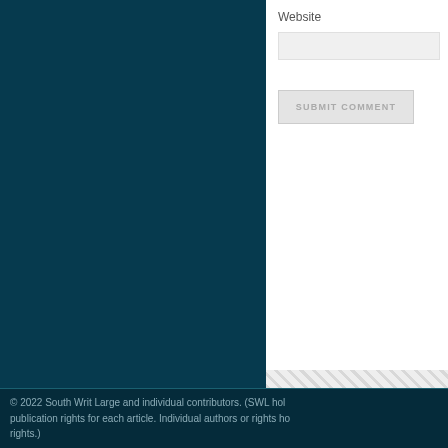Website
SUBMIT COMMENT
© 2022 South Writ Large and individual contributors. (SWL hol publication rights for each article. Individual authors or rights ho rights.)
JOIN OUR MAILING LIST!
Subscribe to our mailing list
email address
Subscribe